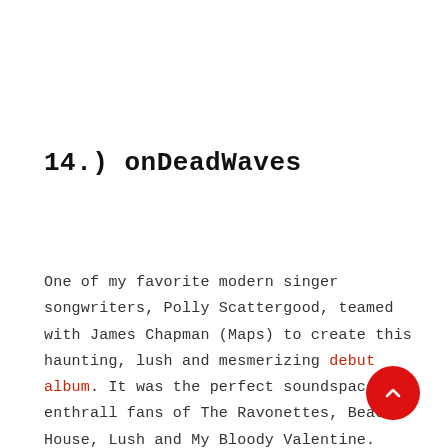14.) onDeadWaves
One of my favorite modern singer songwriters, Polly Scattergood, teamed with James Chapman (Maps) to create this haunting, lush and mesmerizing debut album. It was the perfect soundspace to enthrall fans of The Ravonettes, Beach House, Lush and My Bloody Valentine.